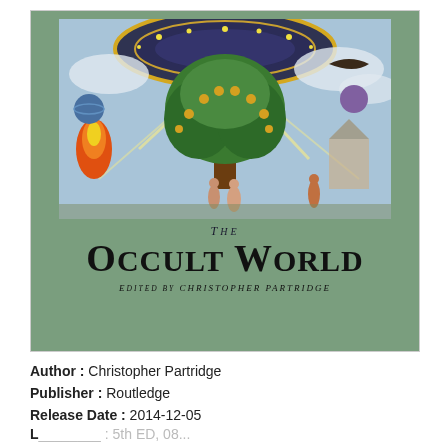[Figure (illustration): Book cover of 'The Occult World' edited by Christopher Partridge. Green background with a detailed historical illustration at the top depicting a cosmic tree of life with figures, celestial imagery, flames, and mythological scenes. Below the illustration, the title 'THE OCCULT WORLD' is displayed in large serif type, with 'Edited by CHRISTOPHER PARTRIDGE' beneath it.]
Author : Christopher Partridge
Publisher : Routledge
Release Date : 2014-12-05